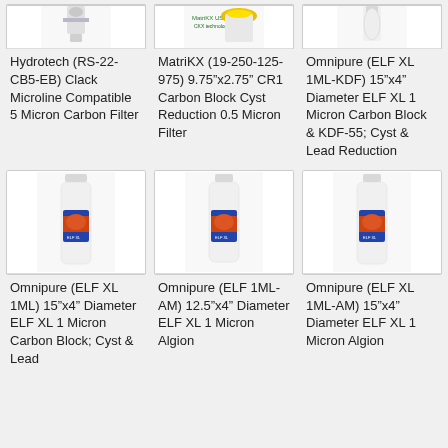[Figure (photo): Hydrotech water filter product image, small partial view at top]
Hydrotech (RS-22-CB5-EB) Clack Microline Compatible 5 Micron Carbon Filter
[Figure (photo): MatriKX water filter product image with yellow cap, partial view at top]
MatriKX (19-250-125-975) 9.75"x2.75" CR1 Carbon Block Cyst Reduction 0.5 Micron Filter
[Figure (photo): Omnipure ELF XL 1ML-KDF white filter canister, partial view at top]
Omnipure (ELF XL 1ML-KDF) 15"x4" Diameter ELF XL 1 Micron Carbon Block & KDF-55; Cyst & Lead Reduction
[Figure (photo): Omnipure ELF XL 1ML white filter canister with orange/blue label]
Omnipure (ELF XL 1ML) 15"x4" Diameter ELF XL 1 Micron Carbon Block; Cyst & Lead
[Figure (photo): Omnipure ELF XL 1ML-AM white filter canister with orange/blue label]
Omnipure (ELF 1ML-AM) 12.5"x4" Diameter ELF XL 1 Micron Algion
[Figure (photo): Omnipure ELF XL 1ML-AM white filter canister with orange/blue label]
Omnipure (ELF XL 1ML-AM) 15"x4" Diameter ELF XL 1 Micron Algion